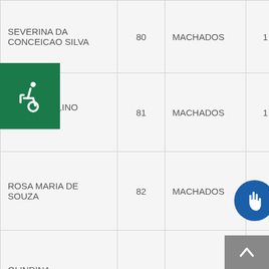| Name | Age | District | N | Code |
| --- | --- | --- | --- | --- |
| SEVERINA DA CONCEICAO SILVA | 80 | MACHADOS | 1 | 514... |
| PAULO AVELINO BARBOSA | 81 | MACHADOS | 1 |  |
| ROSA MARIA DE SOUZA | 82 | MACHADOS | 1 | 514... |
| OLINDINA ALEXANDRINA DO | 80 | BOM JARDIM | 1 | 243... |